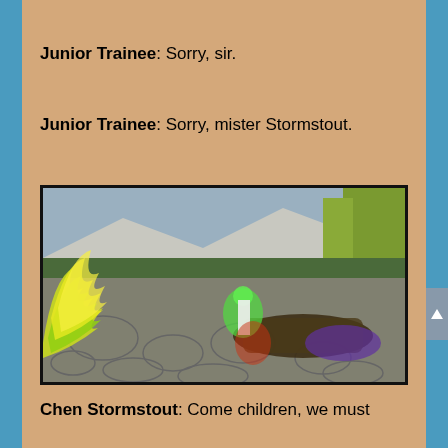Junior Trainee: Sorry, sir.
Junior Trainee: Sorry, mister Stormstout.
[Figure (screenshot): World of Warcraft in-game screenshot showing a battle scene with green/yellow fire effects on the left, stone cobblestone floor, characters fighting, and a mountainous background with buildings.]
Chen Stormstout: Come children, we must